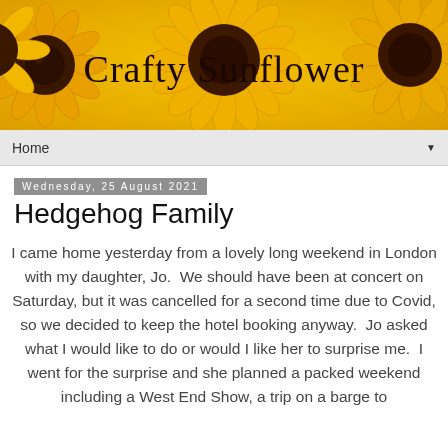[Figure (photo): Banner image with sunflowers and the blog title 'Crafty Sunflower' in cursive font on a yellow sunflower background]
Home ▼
Wednesday, 25 August 2021
Hedgehog Family
I came home yesterday from a lovely long weekend in London with my daughter, Jo.  We should have been at concert on Saturday, but it was cancelled for a second time due to Covid, so we decided to keep the hotel booking anyway.  Jo asked what I would like to do or would I like her to surprise me.  I went for the surprise and she planned a packed weekend including a West End Show, a trip on a barge to